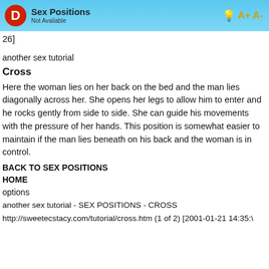Sex Positions | Not Available
26]
another sex tutorial
Cross
Here the woman lies on her back on the bed and the man lies diagonally across her. She opens her legs to allow him to enter and he rocks gently from side to side. She can guide his movements with the pressure of her hands. This position is somewhat easier to maintain if the man lies beneath on his back and the woman is in control.
BACK TO SEX POSITIONS
HOME
options
another sex tutorial - SEX POSITIONS - CROSS
http://sweetecstacy.com/tutorial/cross.htm (1 of 2) [2001-01-21 14:35:\